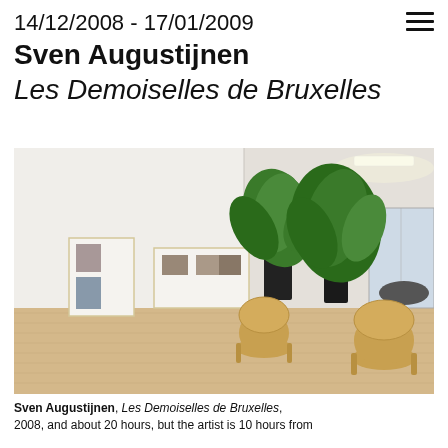14/12/2008 - 17/01/2009
Sven Augustijnen
Les Demoiselles de Bruxelles
[Figure (photo): Gallery installation view showing two framed artworks on a white wall, with two large tropical plants in black pots and two wicker chairs on a wooden floor, under fluorescent lighting.]
Sven Augustijnen, Les Demoiselles de Bruxelles, 2008, and about 20 hours, but the artist is 10 hours from...